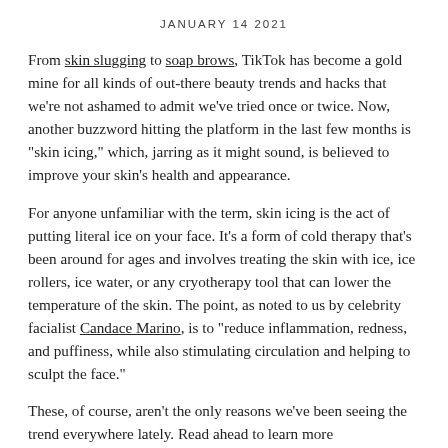JANUARY 14 2021
From skin slugging to soap brows, TikTok has become a gold mine for all kinds of out-there beauty trends and hacks that we're not ashamed to admit we've tried once or twice. Now, another buzzword hitting the platform in the last few months is "skin icing," which, jarring as it might sound, is believed to improve your skin's health and appearance.
For anyone unfamiliar with the term, skin icing is the act of putting literal ice on your face. It's a form of cold therapy that's been around for ages and involves treating the skin with ice, ice rollers, ice water, or any cryotherapy tool that can lower the temperature of the skin. The point, as noted to us by celebrity facialist Candace Marino, is to "reduce inflammation, redness, and puffiness, while also stimulating circulation and helping to sculpt the face."
These, of course, aren't the only reasons we've been seeing the trend everywhere lately. Read ahead to learn more